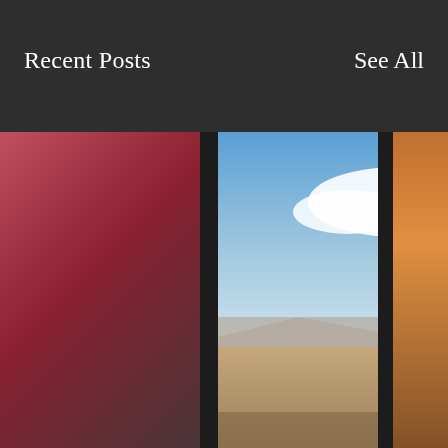Recent Posts  See All
[Figure (screenshot): Mobile app UI showing a carousel of recent posts. Center card shows a person kneeling with head bowed on a desert landscape with clouds. Left and right cards are partially visible. Below the image is dark overlay text reading SHOOTERS' FUN TRUMPS... Navigation dots and an up-arrow button are visible at the bottom.]
SHOOTERS' FUN TRUMPS...